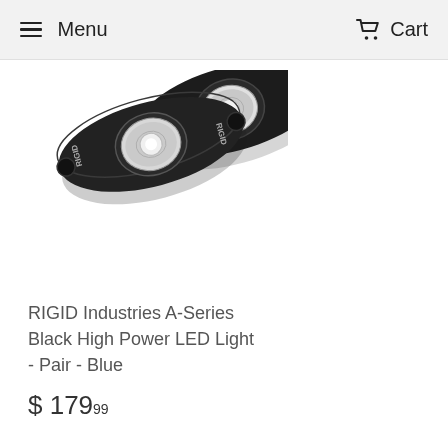Menu  Cart
[Figure (photo): Two RIGID Industries A-Series black oval LED lights with chrome LED lenses, shown from above at a slight angle, pair product shot on white background.]
RIGID Industries A-Series Black High Power LED Light - Pair - Blue
$ 17999